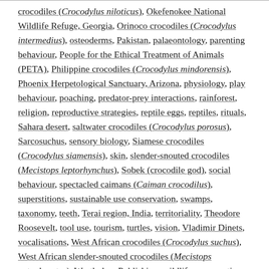crocodiles (Crocodylus niloticus), Okefenokee National Wildlife Refuge, Georgia, Orinoco crocodiles (Crocodylus intermedius), osteoderms, Pakistan, palaeontology, parenting behaviour, People for the Ethical Treatment of Animals (PETA), Philippine crocodiles (Crocodylus mindorensis), Phoenix Herpetological Sanctuary, Arizona, physiology, play behaviour, poaching, predator-prey interactions, rainforest, religion, reproductive strategies, reptile eggs, reptiles, rituals, Sahara desert, saltwater crocodiles (Crocodylus porosus), Sarcosuchus, sensory biology, Siamese crocodiles (Crocodylus siamensis), skin, slender-snouted crocodiles (Mecistops leptorhynchus), Sobek (crocodile god), social behaviour, spectacled caimans (Caiman crocodilus), superstitions, sustainable use conservation, swamps, taxonomy, teeth, Terai region, India, territoriality, Theodore Roosevelt, tool use, tourism, turtles, vision, Vladimir Dinets, vocalisations, West African crocodiles (Crocodylus suchus), West African slender-snouted crocodiles (Mecistops cataphractus), Westholme Publishing, wildlife conservation, wildlife farms, wildlife